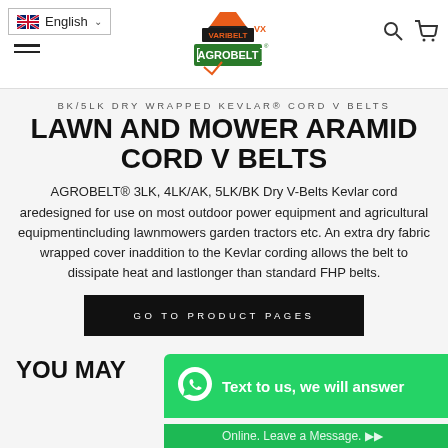English (language selector) | AGROBELT VARIBELT VX logo | Search and Cart icons
BK/5LK DRY WRAPPED KEVLAR® CORD V BELTS
LAWN AND MOWER ARAMID CORD V BELTS
AGROBELT® 3LK, 4LK/AK, 5LK/BK Dry V-Belts Kevlar cord aredesigned for use on most outdoor power equipment and agricultural equipmentincluding lawnmowers garden tractors etc. An extra dry fabric wrapped cover inaddition to the Kevlar cording allows the belt to dissipate heat and lastlonger than standard FHP belts.
GO TO PRODUCT PAGES
YOU MAY
Text to us, we will answer
Online. Leave a Message.